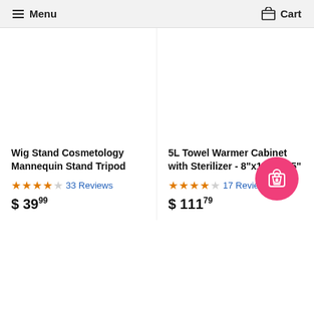Menu  Cart
Wig Stand Cosmetology Mannequin Stand Tripod
4.5 stars, 33 Reviews
$ 39.99
5L Towel Warmer Cabinet with Sterilizer - 8"x10"x11.5"
4.5 stars, 17 Reviews
$ 111.79